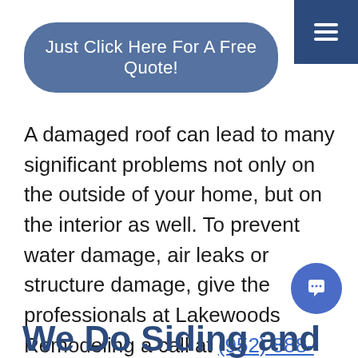[Figure (other): Dark blue hamburger/menu button in the top right corner]
Just Click Here For A Free Quote!
A damaged roof can lead to many significant problems not only on the outside of your home, but on the interior as well. To prevent water damage, air leaks or structure damage, give the professionals at Lakewoods Remodeling a call at (952) 888-5550 to schedule your consultation.
[Figure (other): Blue circular chat button in the bottom right corner]
We Do Siding and